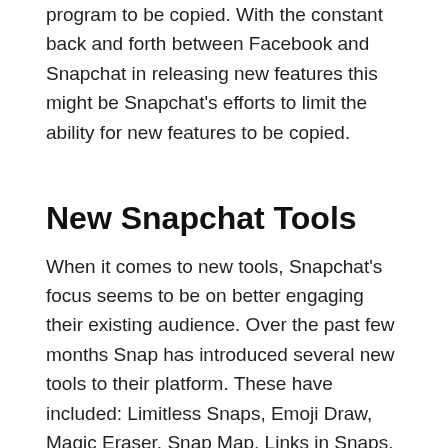program to be copied. With the constant back and forth between Facebook and Snapchat in releasing new features this might be Snapchat's efforts to limit the ability for new features to be copied.
New Snapchat Tools
When it comes to new tools, Snapchat's focus seems to be on better engaging their existing audience. Over the past few months Snap has introduced several new tools to their platform. These have included: Limitless Snaps, Emoji Draw, Magic Eraser, Snap Map, Links in Snaps,